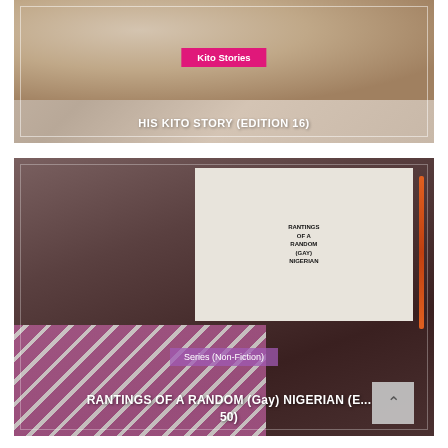[Figure (photo): Close-up photo of a person's face (side/cheek view) with skin and ear visible, brownish background. Overlaid with a pink 'Kito Stories' tag and white title text.]
HIS KITO STORY (EDITION 16)
[Figure (photo): Photo showing a book titled 'RANTINGS OF A RANDOM (Gay) NIGERIAN' on a surface with a pen to the right, and striped pink/white fabric in the foreground. Dark brownish overlay. Series tag and title overlaid.]
RANTINGS OF A RANDOM (Gay) NIGERIAN (E... 50)